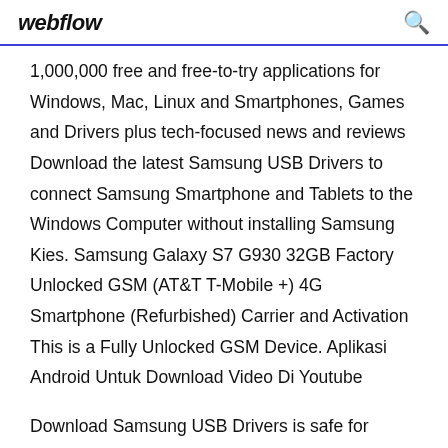webflow
1,000,000 free and free-to-try applications for Windows, Mac, Linux and Smartphones, Games and Drivers plus tech-focused news and reviews Download the latest Samsung USB Drivers to connect Samsung Smartphone and Tablets to the Windows Computer without installing Samsung Kies. Samsung Galaxy S7 G930 32GB Factory Unlocked GSM (AT&T T-Mobile +) 4G Smartphone (Refurbished) Carrier and Activation This is a Fully Unlocked GSM Device. Aplikasi Android Untuk Download Video Di Youtube
Download Samsung USB Drivers is safe for